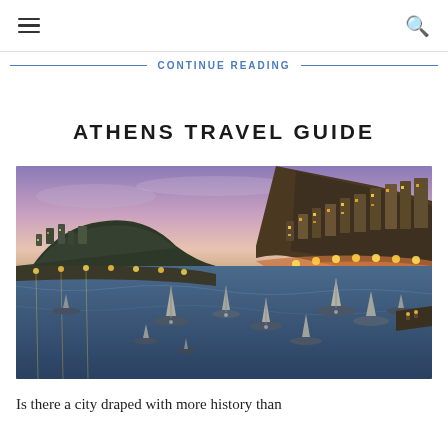☰   🔍
CONTINUE READING
ATHENS TRAVEL GUIDE
[Figure (photo): Night aerial view of Athens harbor (Mikrolimano/Piraeus) at twilight, showing illuminated boats moored in a crescent-shaped bay with glowing city lights lining the waterfront and a hillside residential area in the background under a purple-pink sky.]
Is there a city draped with more history than